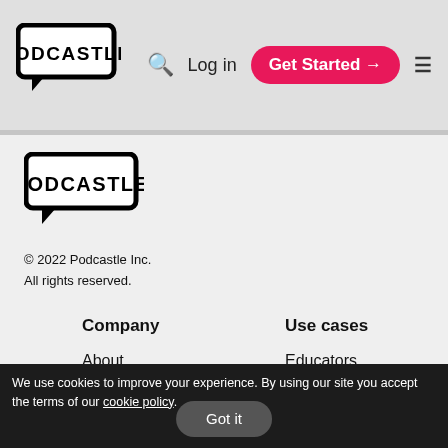[Figure (logo): Podcastle logo in header - black text in speech bubble box shape]
Log in  Get Started →  ☰
[Figure (logo): Podcastle logo in footer - larger black text in speech bubble box shape]
© 2022 Podcastle Inc.
All rights reserved.
Company
Use cases
About
Educators
Careers
Podcasters
Audiobook creators
Privacy
We use cookies to improve your experience. By using our site you accept the terms of our cookie policy.
Got it